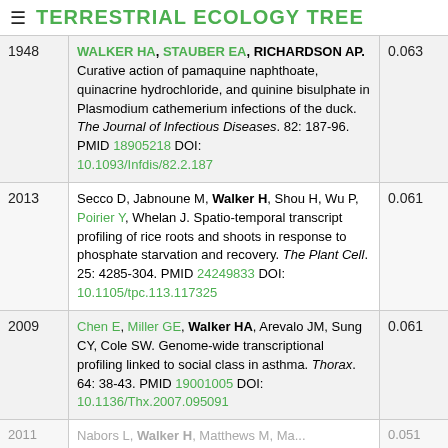≡ TERRESTRIAL ECOLOGY TREE
| Year | Reference | Score |
| --- | --- | --- |
| 1948 | WALKER HA, STAUBER EA, RICHARDSON AP. Curative action of pamaquine naphthoate, quinacrine hydrochloride, and quinine bisulphate in Plasmodium cathemerium infections of the duck. The Journal of Infectious Diseases. 82: 187-96. PMID 18905218 DOI: 10.1093/Infdis/82.2.187 | 0.063 |
| 2013 | Secco D, Jabnoune M, Walker H, Shou H, Wu P, Poirier Y, Whelan J. Spatio-temporal transcript profiling of rice roots and shoots in response to phosphate starvation and recovery. The Plant Cell. 25: 4285-304. PMID 24249833 DOI: 10.1105/tpc.113.117325 | 0.061 |
| 2009 | Chen E, Miller GE, Walker HA, Arevalo JM, Sung CY, Cole SW. Genome-wide transcriptional profiling linked to social class in asthma. Thorax. 64: 38-43. PMID 19001005 DOI: 10.1136/Thx.2007.095091 | 0.061 |